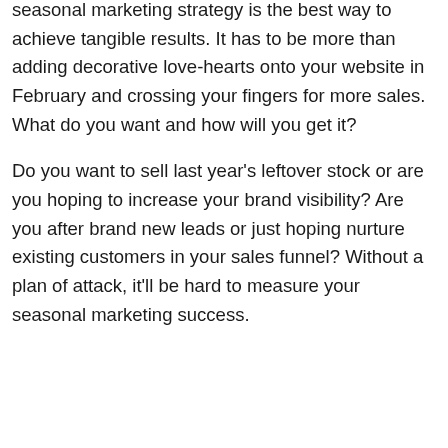seasonal marketing strategy is the best way to achieve tangible results. It has to be more than adding decorative love-hearts onto your website in February and crossing your fingers for more sales. What do you want and how will you get it?
Do you want to sell last year's leftover stock or are you hoping to increase your brand visibility? Are you after brand new leads or just hoping nurture existing customers in your sales funnel? Without a plan of attack, it'll be hard to measure your seasonal marketing success.